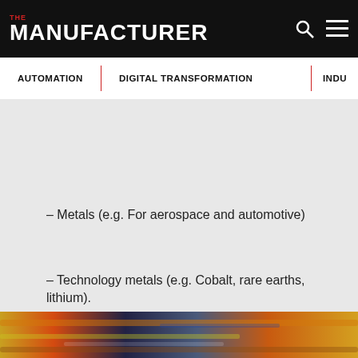THE MANUFACTURER
AUTOMATION | DIGITAL TRANSFORMATION | INDU...
– Metals (e.g. For aerospace and automotive)
– Technology metals (e.g. Cobalt, rare earths, lithium).
[Figure (photo): Industrial/manufacturing scene with colorful metal elements, dark background]